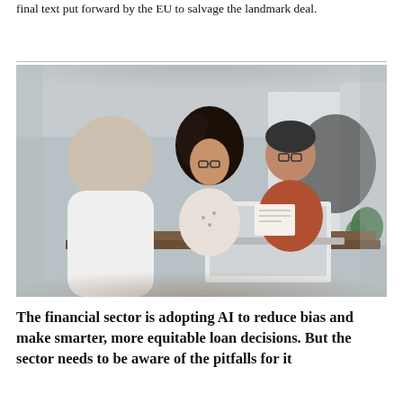final text put forward by the EU to salvage the landmark deal.
[Figure (photo): Three people sitting at a table in a modern office setting. A person with their back to the camera faces two others — a woman with curly hair wearing glasses and a floral blouse, and a man with glasses wearing a rust-colored shirt. A laptop is open on the table. The setting appears to be a financial consultation or meeting.]
The financial sector is adopting AI to reduce bias and make smarter, more equitable loan decisions. But the sector needs to be aware of the pitfalls for it